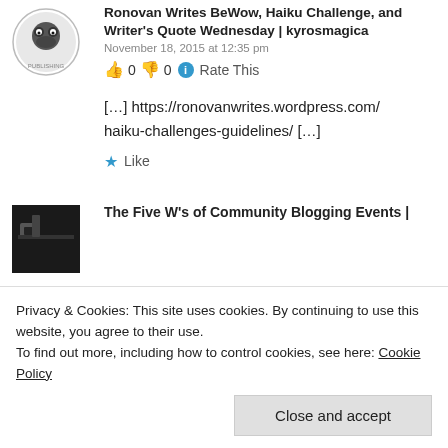Ronovan Writes BeWow, Haiku Challenge, and Writer's Quote Wednesday | kyrosmagica
November 18, 2015 at 12:35 pm
👍 0 👎 0 ℹ Rate This
[…] https://ronovanwrites.wordpress.com/haiku-challenges-guidelines/ […]
★ Like
The Five W's of Community Blogging Events |
Privacy & Cookies: This site uses cookies. By continuing to use this website, you agree to their use.
To find out more, including how to control cookies, see here: Cookie Policy
Close and accept